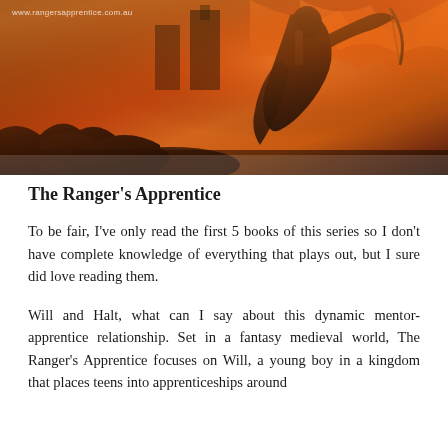[Figure (illustration): Fantasy illustration of a cloaked archer figure drawing a bow, set against a fiery orange and brown medieval battle background. Website watermark reads www.rangersapprentice.com.au]
The Ranger's Apprentice
To be fair, I've only read the first 5 books of this series so I don't have complete knowledge of everything that plays out, but I sure did love reading them.
Will and Halt, what can I say about this dynamic mentor-apprentice relationship. Set in a fantasy medieval world, The Ranger's Apprentice focuses on Will, a young boy in a kingdom that places teens into apprenticeships around